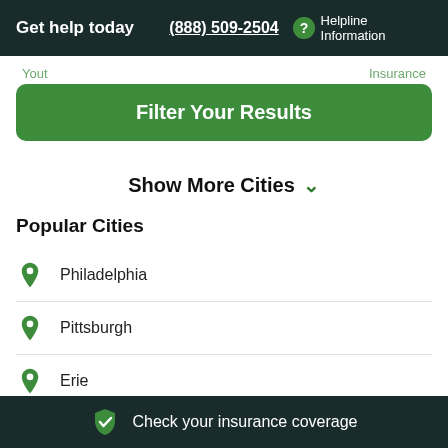Get help today  (888) 509-2504  ? Helpline Information
Filter Your Results
Show More Cities
Popular Cities
Philadelphia
Pittsburgh
Erie
Check your insurance coverage